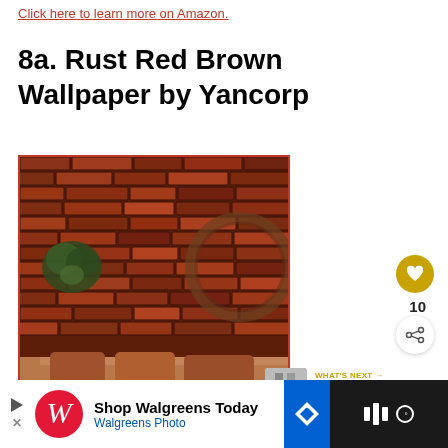Click here to learn more on Amazon.
8a. Rust Red Brown Wallpaper by Yancorp
[Figure (photo): Photo of a rust red brown brick wallpaper installed in a room, showing textured aged brick pattern with a hanging plant, circular window frame, and sofa with rust-colored pillows in foreground.]
10
WHAT'S NEXT → Should Curtains...
Shop Walgreens Today Walgreens Photo